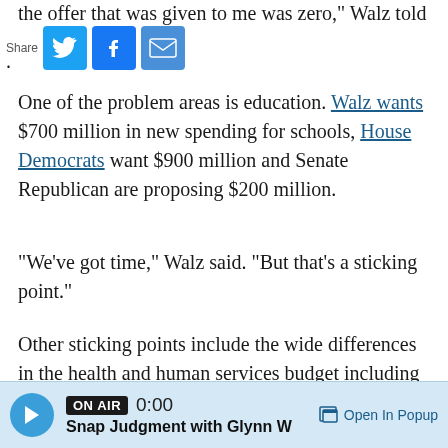the offer that was given to me was zero," Walz told
[Figure (infographic): Share bar with Twitter, Facebook, and Email icons]
One of the problem areas is education. Walz wants $700 million in new spending for schools, House Democrats want $900 million and Senate Republican are proposing $200 million.
"We've got time," Walz said. "But that's a sticking point."
Other sticking points include the wide differences in the health and human services budget including the fate of a 2 percent medical provider tax. The tax is set to expire at the end of the year but Walz says it needs to be extended. Republicans disagree.
[Figure (infographic): Audio player bar: ON AIR badge, 0:00 time, Snap Judgment with Glynn W, Open In Popup button]